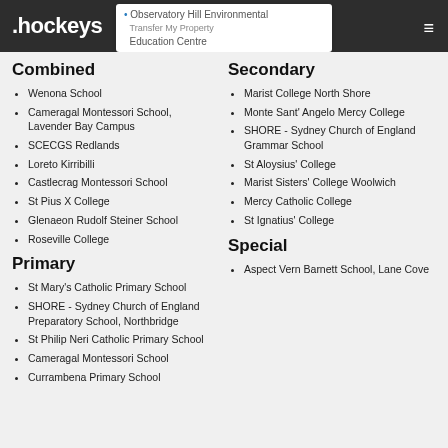.hockeys
Observatory Hill Environmental Education Centre / Transfer My Property
Combined
Wenona School
Cameragal Montessori School, Lavender Bay Campus
SCECGS Redlands
Loreto Kirribilli
Castlecrag Montessori School
St Pius X College
Glenaeon Rudolf Steiner School
Roseville College
Primary
St Mary's Catholic Primary School
SHORE - Sydney Church of England Preparatory School, Northbridge
St Philip Neri Catholic Primary School
Cameragal Montessori School
Currambena Primary School
Secondary
Marist College North Shore
Monte Sant' Angelo Mercy College
SHORE - Sydney Church of England Grammar School
St Aloysius' College
Marist Sisters' College Woolwich
Mercy Catholic College
St Ignatius' College
Special
Aspect Vern Barnett School, Lane Cove